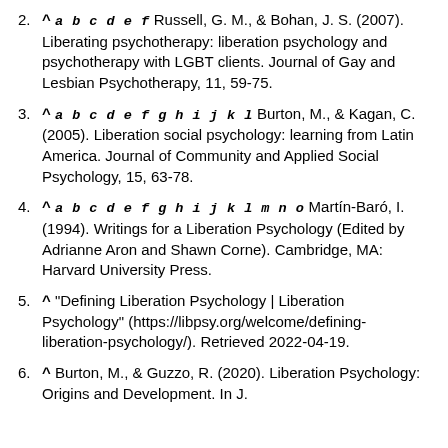2. ^ a b c d e f Russell, G. M., & Bohan, J. S. (2007). Liberating psychotherapy: liberation psychology and psychotherapy with LGBT clients. Journal of Gay and Lesbian Psychotherapy, 11, 59-75.
3. ^ a b c d e f g h i j k l Burton, M., & Kagan, C. (2005). Liberation social psychology: learning from Latin America. Journal of Community and Applied Social Psychology, 15, 63-78.
4. ^ a b c d e f g h i j k l m n o Martín-Baró, I. (1994). Writings for a Liberation Psychology (Edited by Adrianne Aron and Shawn Corne). Cambridge, MA: Harvard University Press.
5. ^ "Defining Liberation Psychology | Liberation Psychology" (https://libpsy.org/welcome/defining-liberation-psychology/). Retrieved 2022-04-19.
6. ^ Burton, M., & Guzzo, R. (2020). Liberation Psychology: Origins and Development. In J.